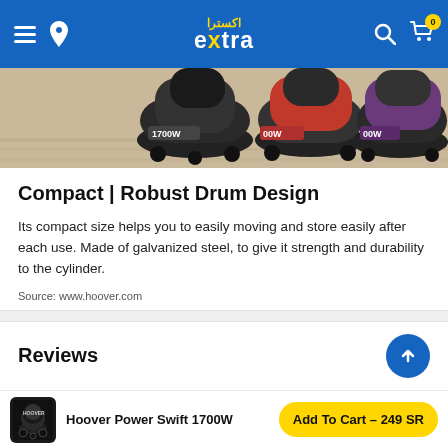extra (اكسترا) — navigation header with menu, location, logo, search, and cart icons
[Figure (photo): Partial product image showing multiple Hoover drum vacuum cleaners (1700W) in black, red, and purple colors on a wooden floor background]
Compact | Robust Drum Design
Its compact size helps you to easily moving and store easily after each use. Made of galvanized steel, to give it strength and durability to the cylinder.
Source: www.hoover.com
Reviews
Hoover Power Swift 1700W — Add To Cart – 249 SR